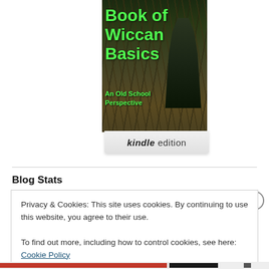[Figure (photo): Book cover of 'Book of Wiccan Basics - An Old School Perspective' shown as a Kindle edition. Cover shows a robed figure among forest roots with green title text.]
Blog Stats
Privacy & Cookies: This site uses cookies. By continuing to use this website, you agree to their use.
To find out more, including how to control cookies, see here: Cookie Policy
Close and accept